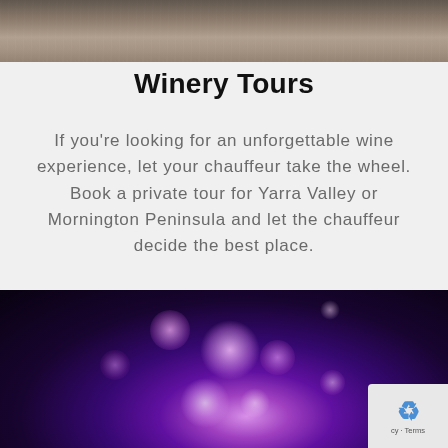[Figure (photo): Top partial photo showing hands holding a wine glass over a wooden table surface, cropped at bottom of page top]
Winery Tours
If you're looking for an unforgettable wine experience, let your chauffeur take the wheel. Book a private tour for Yarra Valley or Mornington Peninsula and let the chauffeur decide the best place.
[Figure (other): Red rounded button with thumbs-up icon and text 'Read More']
[Figure (photo): Bottom partial photo showing fireworks display with purple and pink bokeh lights against a dark night sky]